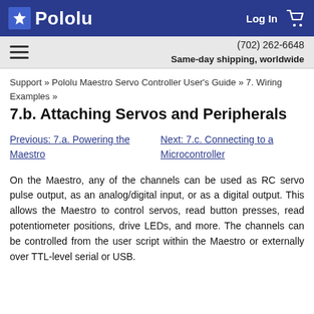Pololu | Log In | Cart
(702) 262-6648 | Same-day shipping, worldwide
Support » Pololu Maestro Servo Controller User's Guide » 7. Wiring Examples »
7.b. Attaching Servos and Peripherals
Previous: 7.a. Powering the Maestro
Next: 7.c. Connecting to a Microcontroller
On the Maestro, any of the channels can be used as RC servo pulse output, as an analog/digital input, or as a digital output. This allows the Maestro to control servos, read button presses, read potentiometer positions, drive LEDs, and more. The channels can be controlled from the user script within the Maestro or externally over TTL-level serial or USB.